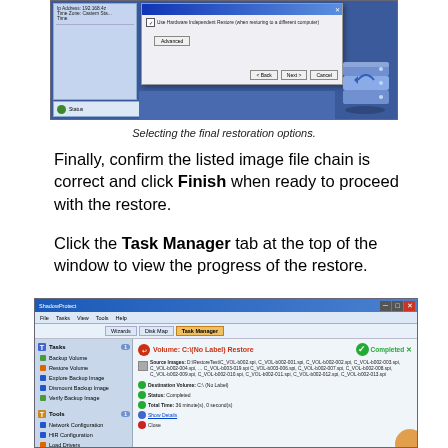[Figure (screenshot): Screenshot of a Windows restore wizard dialog showing restoration options with a left panel, dialog box with Advanced button and Back/Next/Cancel buttons, and a server icon on the right.]
Selecting the final restoration options.
Finally, confirm the listed image file chain is correct and click Finish when ready to proceed with the restore.
Click the Task Manager tab at the top of the window to view the progress of the restore.
[Figure (screenshot): Screenshot of ShadowProtect application showing Task Manager tab with a completed volume restore operation. Details show source images, destination volume C: (No Label), Status: Completed, Total Time: 36 minutes 0 seconds, with Show Details and Close links.]